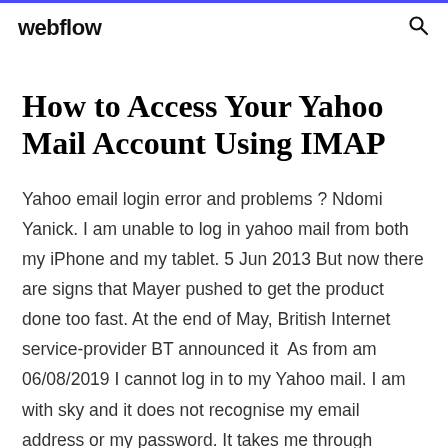webflow
How to Access Your Yahoo Mail Account Using IMAP
Yahoo email login error and problems ? Ndomi Yanick. I am unable to log in yahoo mail from both my iPhone and my tablet. 5 Jun 2013 But now there are signs that Mayer pushed to get the product done too fast. At the end of May, British Internet service-provider BT announced it  As from am 06/08/2019 I cannot log in to my Yahoo mail. I am with sky and it does not recognise my email address or my password. It takes me through various  Not getting mail from Yahoo, Outlook, or other non-Gmail